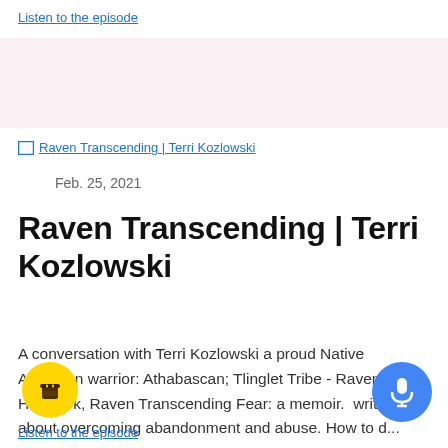Listen to the episode
[Figure (other): Broken image placeholder with link text: Raven Transcending | Terri Kozlowski]
Feb. 25, 2021
Raven Transcending | Terri Kozlowski
A conversation with Terri Kozlowski a proud Native American warrior: Athabascan; Tlinglet Tribe - Raven Clan. Her book, Raven Transcending Fear: a memoir. writes about overcoming abandonment and abuse. How to d...
Listen to the episode